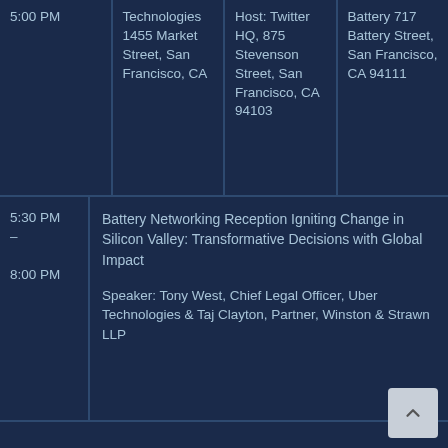| Time | Location 1 | Location 2 | Location 3 |
| --- | --- | --- | --- |
| 5:00 PM | Technologies 1455 Market Street, San Francisco, CA | Host: Twitter HQ, 875 Stevenson Street, San Francisco, CA 94103 | Battery 717 Battery Street, San Francisco, CA 94111 |
| Time | Event |
| --- | --- |
| 5:30 PM – 8:00 PM | Battery Networking Reception Igniting Change in Silicon Valley: Transformative Decisions with Global Impact

Speaker: Tony West, Chief Legal Officer, Uber Technologies & Taj Clayton, Partner, Winston & Strawn LLP |